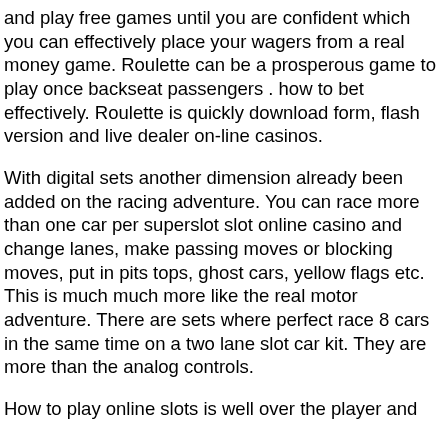and play free games until you are confident which you can effectively place your wagers from a real money game. Roulette can be a prosperous game to play once backseat passengers . how to bet effectively. Roulette is quickly download form, flash version and live dealer on-line casinos.
With digital sets another dimension already been added on the racing adventure. You can race more than one car per superslot slot online casino and change lanes, make passing moves or blocking moves, put in pits tops, ghost cars, yellow flags etc. This is much much more like the real motor adventure. There are sets where perfect race 8 cars in the same time on a two lane slot car kit. They are more than the analog controls.
How to play online slots is well over the player and